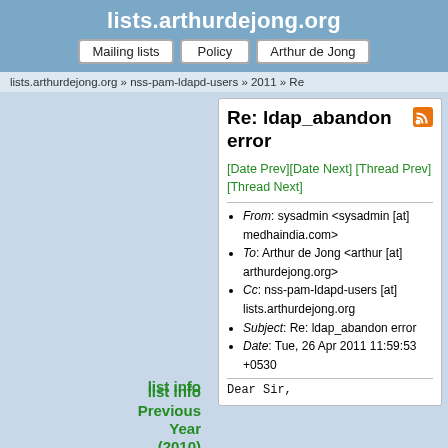lists.arthurdejong.org
Mailing lists | Policy | Arthur de Jong
lists.arthurdejong.org » nss-pam-ldapd-users » 2011 » Re
Re: ldap_abandon error
[Date Prev][Date Next] [Thread Prev] [Thread Next]
From: sysadmin <sysadmin [at] medhaindia.com>
To: Arthur de Jong <arthur [at] arthurdejong.org>
Cc: nss-pam-ldapd-users [at] lists.arthurdejong.org
Subject: Re: ldap_abandon error
Date: Tue, 26 Apr 2011 11:59:53 +0530
Dear Sir,